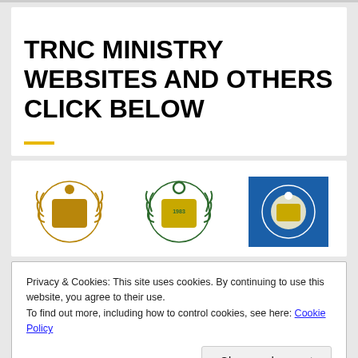TRNC MINISTRY WEBSITES AND OTHERS CLICK BELOW
[Figure (logo): Three TRNC ministry coat of arms / seal logos side by side]
Privacy & Cookies: This site uses cookies. By continuing to use this website, you agree to their use.
To find out more, including how to control cookies, see here: Cookie Policy
[Figure (other): Three blue ministry/government logos at the bottom, partially visible]